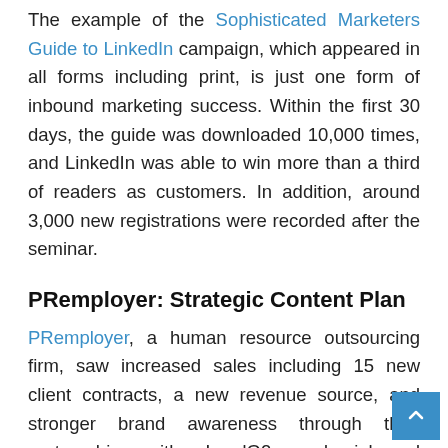The example of the Sophisticated Marketers Guide to LinkedIn campaign, which appeared in all forms including print, is just one form of inbound marketing success. Within the first 30 days, the guide was downloaded 10,000 times, and LinkedIn was able to win more than a third of readers as customers. In addition, around 3,000 new registrations were recorded after the seminar.
PRemployer: Strategic Content Plan
PRemployer, a human resource outsourcing firm, saw increased sales including 15 new client contracts, a new revenue source, and stronger brand awareness through their partnership with LeadG2 and inbound marketing implementation. Here are the details: